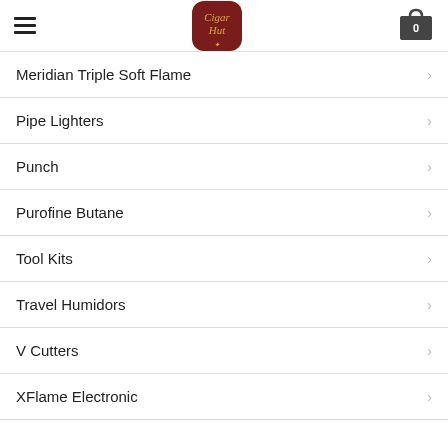Cigar Hut navigation header with hamburger menu and cart
Meridian Triple Soft Flame
Pipe Lighters
Punch
Purofine Butane
Tool Kits
Travel Humidors
V Cutters
XFlame Electronic